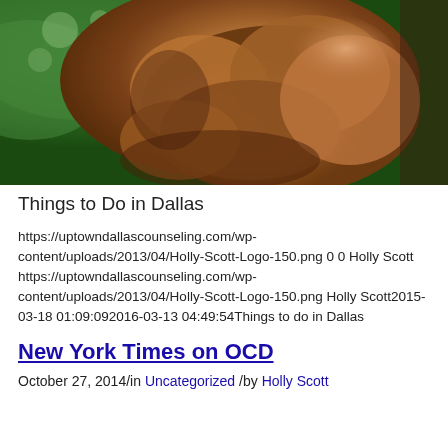[Figure (photo): Close-up photograph of bronze or wooden sculpture showing gnarled, intertwined muscular forms, with green foliage visible in the background]
Things to Do in Dallas
https://uptowndallascounseling.com/wp-content/uploads/2013/04/Holly-Scott-Logo-150.png 0 0 Holly Scott https://uptowndallascounseling.com/wp-content/uploads/2013/04/Holly-Scott-Logo-150.png Holly Scott2015-03-18 01:09:092016-03-13 04:49:54Things to do in Dallas
New York Times on OCD
October 27, 2014/in Uncategorized /by Holly Scott